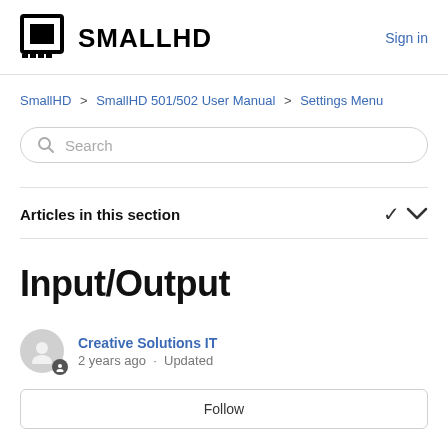SMALLHD | Sign in
SmallHD > SmallHD 501/502 User Manual > Settings Menu
Search
Articles in this section
Input/Output
Creative Solutions IT
2 years ago · Updated
Follow